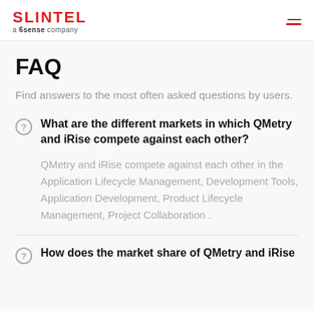SLINTEL a 6sense company
FAQ
Find answers to the most often asked questions by users.
What are the different markets in which QMetry and iRise compete against each other?
QMetry and iRise compete against each other in the Application Lifecycle Management, Development Tools, Application Development, Product Lifecycle Management, Project Collaboration .
How does the market share of QMetry and iRise